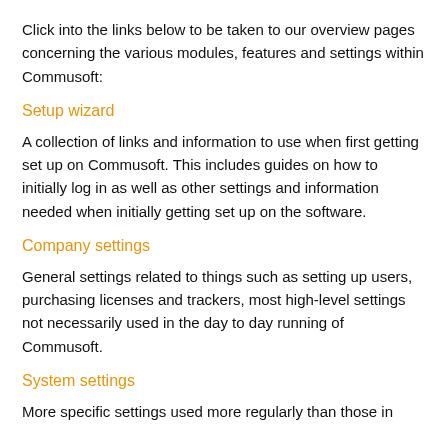Click into the links below to be taken to our overview pages concerning the various modules, features and settings within Commusoft:
Setup wizard
A collection of links and information to use when first getting set up on Commusoft. This includes guides on how to initially log in as well as other settings and information needed when initially getting set up on the software.
Company settings
General settings related to things such as setting up users, purchasing licenses and trackers, most high-level settings not necessarily used in the day to day running of Commusoft.
System settings
More specific settings used more regularly than those in